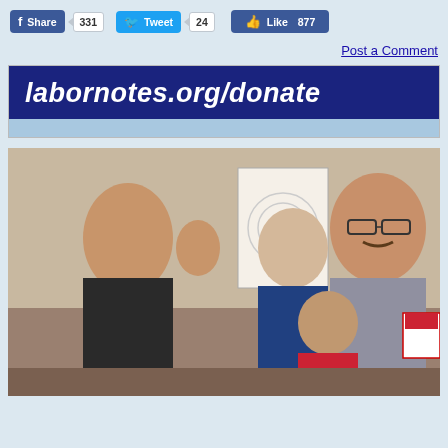[Figure (other): Social media sharing bar with Facebook Share (331), Twitter Tweet (24), and Facebook Like (877) buttons on a light blue background]
Post a Comment
[Figure (other): Banner advertisement for labornotes.org/donate with dark blue background and white italic bold text]
[Figure (photo): Group of people in a workshop or meeting setting. A young woman in a black top gestures with her hand while speaking. Behind her is a flipchart with concentric circles. Other participants include a man in a plaid shirt, a woman with blonde hair wearing a blue Labor Notes shirt, and a young man in a red shirt.]